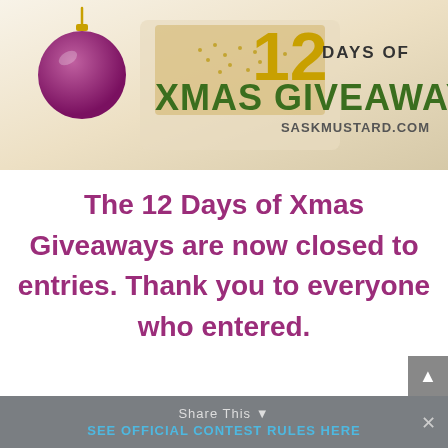[Figure (illustration): 12 Days of Xmas Giveaways banner from saskmustard.com featuring a purple Christmas ornament, mustard seeds in a white dish, and green/gold text]
The 12 Days of Xmas Giveaways are now closed to entries. Thank you to everyone who entered.
Share This  SEE OFFICIAL CONTEST RULES HERE